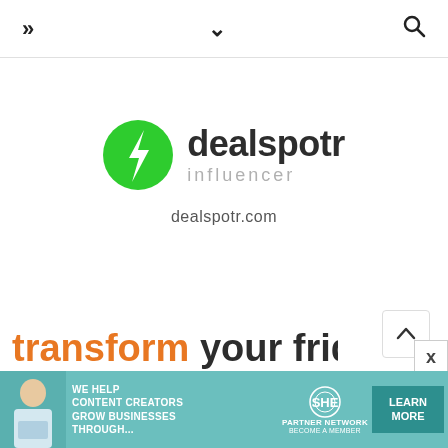>> ∨ 🔍
[Figure (logo): Dealspotr Influencer logo: green circle with white lightning bolt, text 'dealspotr' in dark bold, 'influencer' in grey spaced letters below]
dealspotr.com
transform your fridge
[Figure (infographic): SHE Media partner network advertisement banner: teal background, woman photo on left, text 'WE HELP CONTENT CREATORS GROW BUSINESSES THROUGH...', SHE Media logo, LEARN MORE button]